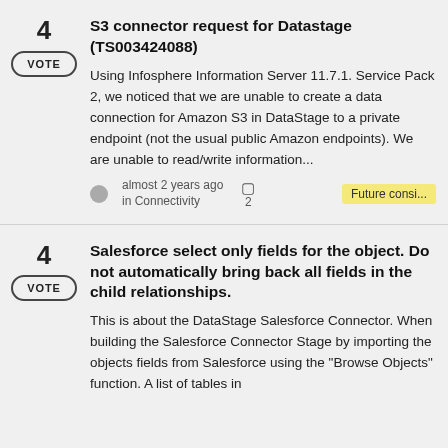4 VOTE | S3 connector request for Datastage (TS003424088) | Using Infosphere Information Server 11.7.1. Service Pack 2, we noticed that we are unable to create a data connection for Amazon S3 in DataStage to a private endpoint (not the usual public Amazon endpoints). We are unable to read/write information... | almost 2 years ago in Connectivity | 2 comments | Future consi...
4 VOTE | Salesforce select only fields for the object. Do not automatically bring back all fields in the child relationships. | This is about the DataStage Salesforce Connector. When building the Salesforce Connector Stage by importing the objects fields from Salesforce using the "Browse Objects" function. A list of tables in